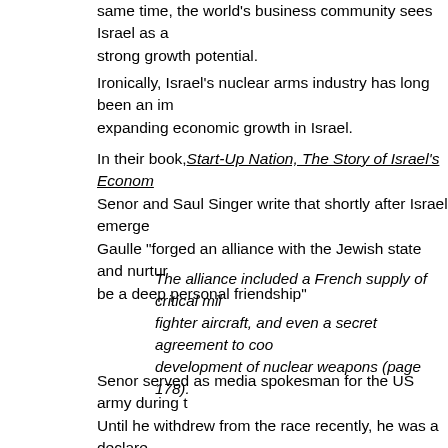same time, the world's business community sees Israel as a country with strong growth potential.
Ironically, Israel's nuclear arms industry has long been an important driver of expanding economic growth in Israel.
In their book, Start-Up Nation, The Story of Israel's Economic Miracle, Dan Senor and Saul Singer write that shortly after Israel emerged, Charles de Gaulle "forged an alliance with the Jewish state and nurtured what was to be a deep personal friendship"
The alliance included a French supply of critical military equipment, fighter aircraft, and even a secret agreement to cooperate in the development of nuclear weapons (page 178).
Senor served as media spokesman for the US army during the Iraq War. Until he withdrew from the race recently, he was a declared candidate for nomination for the US Senate in New York State. Singer is a longtime front page editor of the Jerusalem Post.